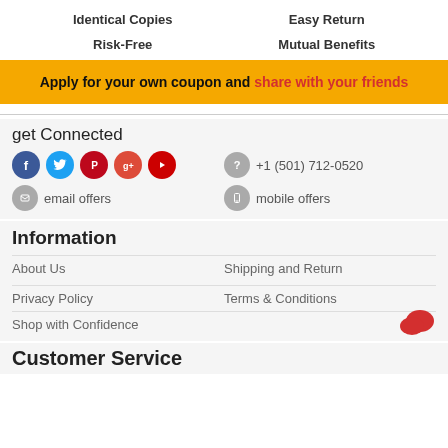Identical Copies
Risk-Free
Easy Return
Mutual Benefits
Apply for your own coupon and share with your friends
get Connected
+1 (501) 712-0520
email offers
mobile offers
Information
About Us
Shipping and Return
Privacy Policy
Terms & Conditions
Shop with Confidence
Customer Service